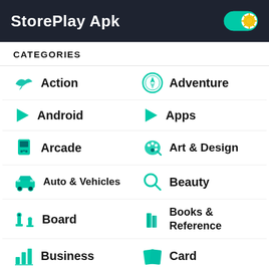StorePlay Apk
CATEGORIES
Action
Adventure
Android
Apps
Arcade
Art & Design
Auto & Vehicles
Beauty
Board
Books & Reference
Business
Card